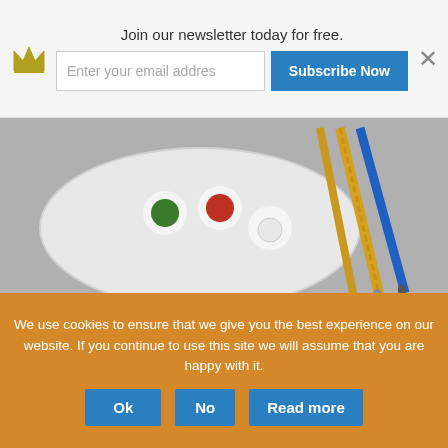[Figure (screenshot): Newsletter subscription bar with crown icon, email input field, Subscribe Now button, and close X button. Text reads: Join our newsletter today for free.]
[Figure (photo): Top-down view of a white ceramic paint palette with green, red, and white paint blobs, alongside yellow and blue paintbrushes on a gray surface.]
[Figure (photo): A hand holding a blue and gold paintbrush, painting a plant/flower design in dark paint on a white speckled rock. Partial text 'gato' visible on the rock.]
We use cookies to ensure that we give you the best experience on our website. If you continue to use this site we will assume that you are happy with it.
[Figure (screenshot): Cookie consent banner with three buttons: Ok, No, Read more]